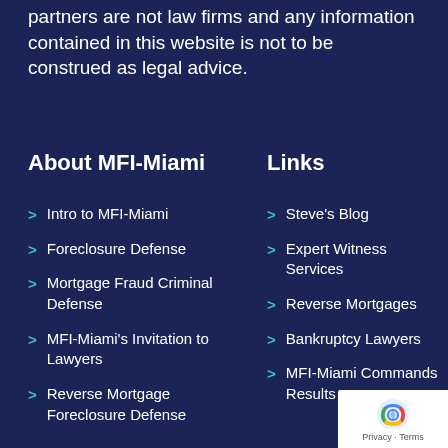partners are not law firms and any information contained in this website is not to be construed as legal advice.
About MFI-Miami
Links
Intro to MFI-Miami
Foreclosure Defense
Mortgage Fraud Criminal Defense
MFI-Miami's Invitation to Lawyers
Reverse Mortgage Foreclosure Defense
Steve's Blog
Expert Witness Services
Reverse Mortgages
Bankruptcy Lawyers
MFI-Miami Commands Results